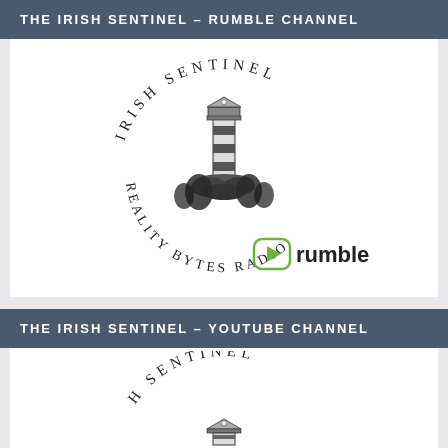THE IRISH SENTINEL – RUMBLE CHANNEL
[Figure (logo): Irish Sentinel Reality Bytes Radio circular logo with lighthouse illustration, accompanied by the Rumble platform logo (green play button icon and 'rumble' wordmark)]
THE IRISH SENTINEL – YOUTUBE CHANNEL
[Figure (logo): Partial Irish Sentinel Reality Bytes Radio circular logo (cropped at bottom of page, showing top arc text 'H SENTI...')]